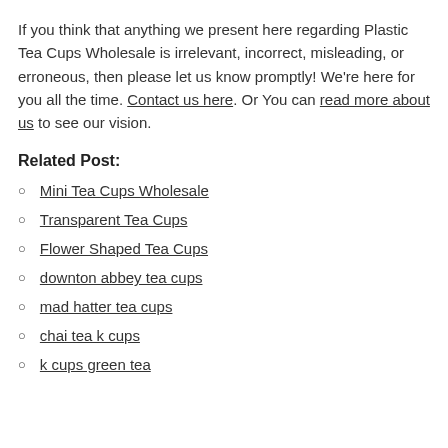If you think that anything we present here regarding Plastic Tea Cups Wholesale is irrelevant, incorrect, misleading, or erroneous, then please let us know promptly! We're here for you all the time. Contact us here. Or You can read more about us to see our vision.
Related Post:
Mini Tea Cups Wholesale
Transparent Tea Cups
Flower Shaped Tea Cups
downton abbey tea cups
mad hatter tea cups
chai tea k cups
k cups green tea